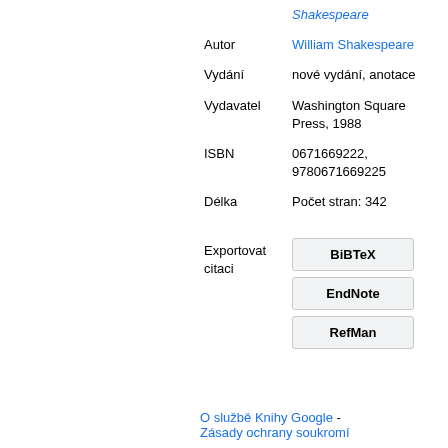| Field | Value |
| --- | --- |
|  | Shakespeare |
| Autor | William Shakespeare |
| Vydání | nové vydání, anotace |
| Vydavatel | Washington Square Press, 1988 |
| ISBN | 0671669222, 9780671669225 |
| Délka | Počet stran: 342 |
Exportovat citaci
BiBTeX
EndNote
RefMan
O službě Knihy Google - Zásady ochrany soukromí